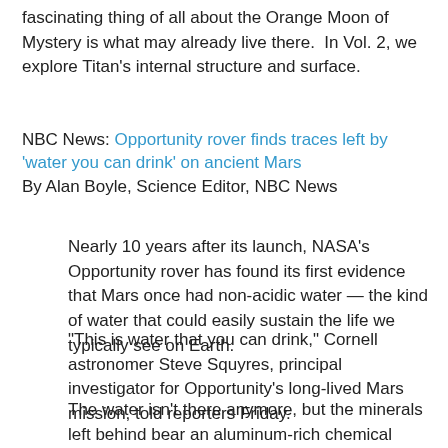fascinating thing of all about the Orange Moon of Mystery is what may already live there.  In Vol. 2, we explore Titan's internal structure and surface.
NBC News: Opportunity rover finds traces left by 'water you can drink' on ancient Mars
By Alan Boyle, Science Editor, NBC News
Nearly 10 years after its launch, NASA's Opportunity rover has found its first evidence that Mars once had non-acidic water — the kind of water that could easily sustain the life we typically see on Earth.
"This is water that you can drink," Cornell astronomer Steve Squyres, principal investigator for Opportunity's long-lived Mars mission, told reporters Friday.
The water isn't there anymore, but the minerals left behind bear an aluminum-rich chemical signature that suggests they were formed